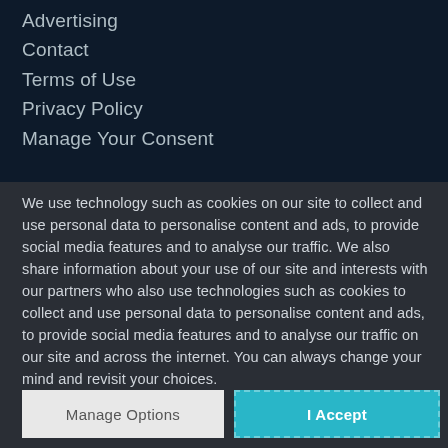Advertising
Contact
Terms of Use
Privacy Policy
Manage Your Consent
We use technology such as cookies on our site to collect and use personal data to personalise content and ads, to provide social media features and to analyse our traffic. We also share information about your use of our site and interests with our partners who also use technologies such as cookies to collect and use personal data to personalise content and ads, to provide social media features and to analyse our traffic on our site and across the internet. You can always change your mind and revisit your choices.
Manage Options
I Accept